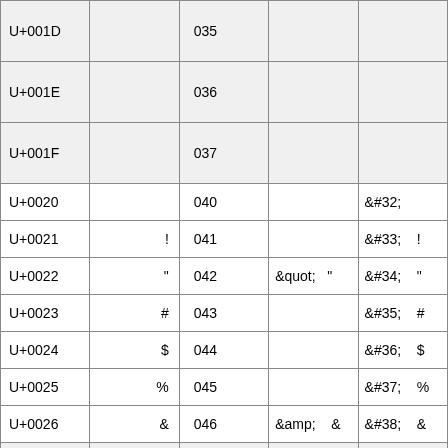| Code | Char | Oct | Named | Numeric |
| --- | --- | --- | --- | --- |
| U+001D |  | 035 |  |  |
| U+001E |  | 036 |  |  |
| U+001F |  | 037 |  |  |
| U+0020 |  | 040 |  | &#32; |
| U+0021 | ! | 041 |  | &#33;  ! |
| U+0022 | " | 042 | &quot;  " | &#34;  " |
| U+0023 | # | 043 |  | &#35;  # |
| U+0024 | $ | 044 |  | &#36;  $ |
| U+0025 | % | 045 |  | &#37;  % |
| U+0026 | & | 046 | &amp;  & | &#38;  & |
| U+0027 | ' | 047 |  | &#39;  ' |
| U+0028 | ( | 050 |  | &#40;  ( |
| U+0029 | ) | 051 |  | &#41;  ) |